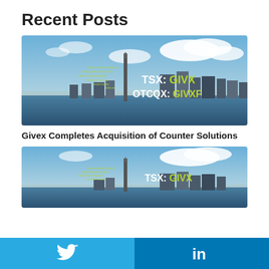Recent Posts
[Figure (photo): Toronto skyline at sunset with CN Tower, overlaid with a checkmark/tick made of city names in green text. Text reads 'TSX: GIVX' and 'OTCQX: GIVXF' in white and green.]
Givex Completes Acquisition of Counter Solutions
[Figure (photo): Second Toronto skyline photo similar to the first, partially visible, with 'TSX: GIVX' text visible in green.]
[Figure (other): Social media sharing bar with Twitter and LinkedIn buttons at the bottom of the page.]